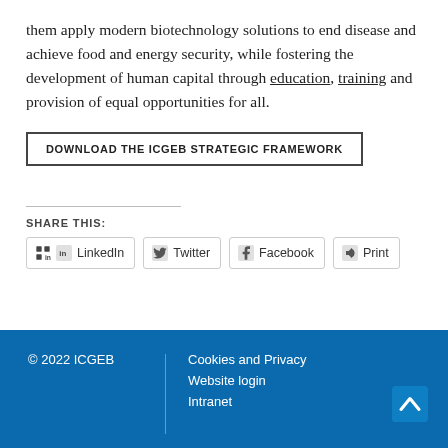them apply modern biotechnology solutions to end disease and achieve food and energy security, while fostering the development of human capital through education, training and provision of equal opportunities for all.
DOWNLOAD THE ICGEB STRATEGIC FRAMEWORK
SHARE THIS:
LinkedIn
Twitter
Facebook
Print
© 2022 ICGEB | Cookies and Privacy | Website login | Intranet